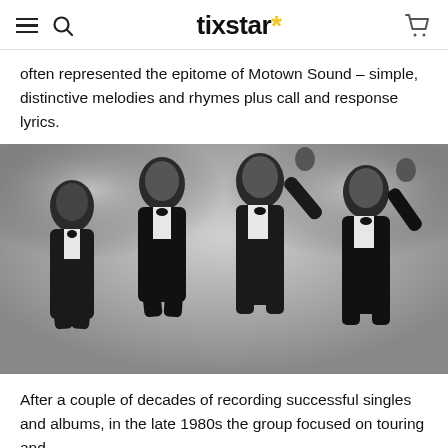tixstar*
often represented the epitome of Motown Sound – simple, distinctive melodies and rhymes plus call and response lyrics.
[Figure (photo): Black and white promotional photo of four men in tuxedos, posing and smiling — likely a 1960s Motown vocal group.]
After a couple of decades of recording successful singles and albums, in the late 1980s the group focused on touring and